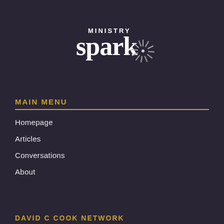[Figure (logo): Ministry Spark logo with white text 'MINISTRY spark' and a starburst/spark graphic in gray on dark background]
MAIN MENU
Homepage
Articles
Conversations
About
DAVID C COOK NETWORK